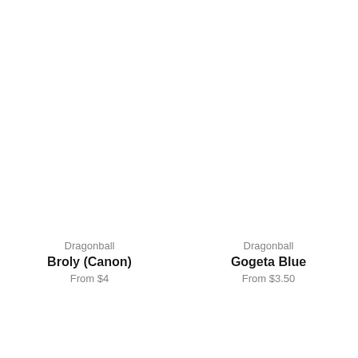Dragonball
Broly (Canon)
From $4
Dragonball
Gogeta Blue
From $3.50